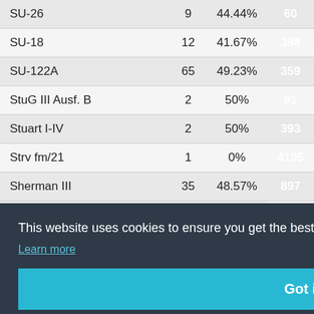| Vehicle | Battles | Win% | Rating |
| --- | --- | --- | --- |
| SU-26 | 9 | 44.44% | 60 |
| SU-18 | 12 | 41.67% | 398 |
| SU-122A | 65 | 49.23% | 359 |
| StuG III Ausf. B | 2 | 50% | 91 |
| Stuart I-IV | 2 | 50% | 393 |
| Strv fm/21 | 1 | 0% | 4105 |
| Sherman III | 35 | 48.57% | 897 |
This website uses cookies to ensure you get the best experience on our website. Learn more
Got it!